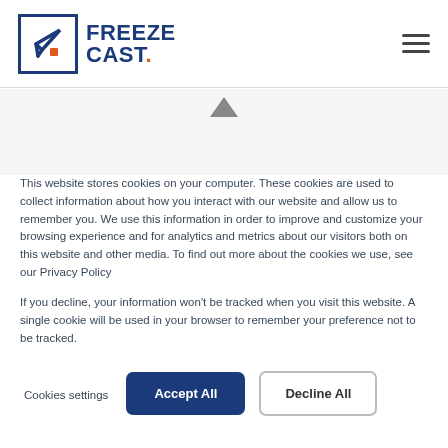FREEZE CAST.
This website stores cookies on your computer. These cookies are used to collect information about how you interact with our website and allow us to remember you. We use this information in order to improve and customize your browsing experience and for analytics and metrics about our visitors both on this website and other media. To find out more about the cookies we use, see our Privacy Policy
If you decline, your information won't be tracked when you visit this website. A single cookie will be used in your browser to remember your preference not to be tracked.
Cookies settings | Accept All | Decline All